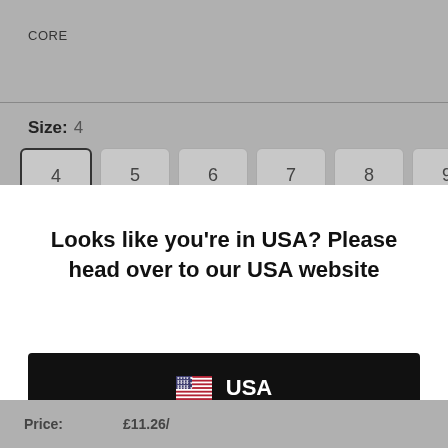CORE
Size: 4
4  5  6  7  8  9  10
Looks like you're in USA? Please head over to our USA website
🇺🇸 USA
Keep on Browsing
Price:  £11.26/